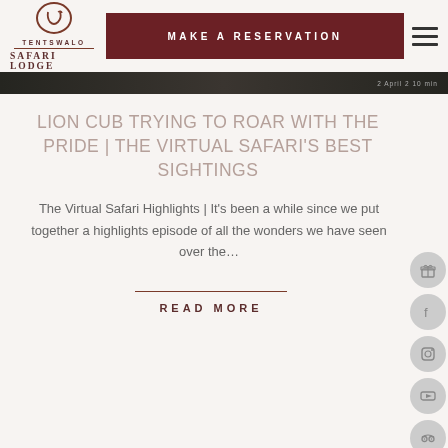[Figure (logo): Tentswalo Safari Lodge logo with circular C emblem and text]
MAKE A RESERVATION
[Figure (photo): Dark nature/safari image strip]
LION CUB TRYING TO ROAR WITH THE PRIDE | THE VIRTUAL SAFARI'S BEST SIGHTINGS
The Virtual Safari Highlights | It's been a while since we put together a highlights episode of all the wonders we have seen over the...
READ MORE